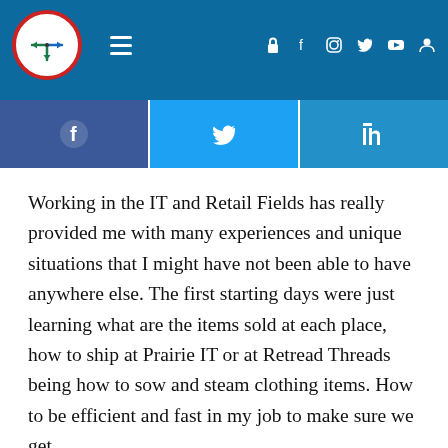[Figure (screenshot): Website navigation bar with logo (circle with clock/compass icon), hamburger menu, and social media icons on blue background]
[Figure (infographic): Social share buttons: Facebook (dark blue), Twitter (light blue), LinkedIn (blue) with respective icons]
Working in the IT and Retail Fields has really provided me with many experiences and unique situations that I might have not been able to have anywhere else. The first starting days were just learning what are the items sold at each place, how to ship at Prairie IT or at Retread Threads being how to sow and steam clothing items. How to be efficient and fast in my job to make sure we get